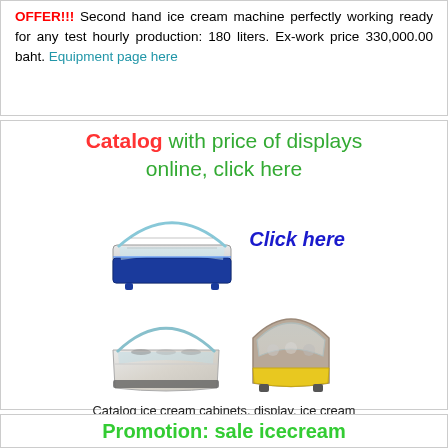OFFER!!! Second hand ice cream machine perfectly working ready for any test hourly production: 180 liters. Ex-work price 330,000.00 baht. Equipment page here
Catalog with price of displays online, click here
[Figure (photo): Ice cream display cabinet (blue trim, curved glass) with 'Click here' text in blue beside it, and two more ice cream display cabinets below (white marble-style and brown/yellow rounded style)]
Catalog ice cream cabinets, display, ice cream freezer and cases
Promotion: sale icecream